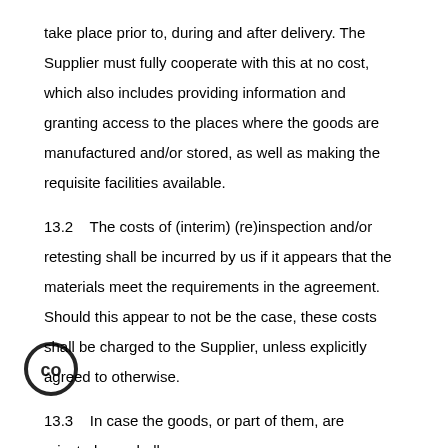take place prior to, during and after delivery. The Supplier must fully cooperate with this at no cost, which also includes providing information and granting access to the places where the goods are manufactured and/or stored, as well as making the requisite facilities available.
13.2    The costs of (interim) (re)inspection and/or retesting shall be incurred by us if it appears that the materials meet the requirements in the agreement. Should this appear to not be the case, these costs shall be charged to the Supplier, unless explicitly agreed to otherwise.
13.3    In case the goods, or part of them, are rejected, we shall [notify] the Supplier of this fact immediately. The Supplier shall immediately rectify or replace the rejected goods or part of